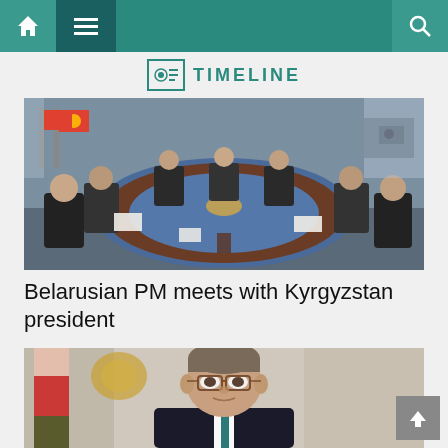TIMELINE
[Figure (photo): Delegates seated around a large circular dark wood conference table in a formal meeting room. Kyrgyzstan flags visible. Multiple officials in dark suits.]
Belarusian PM meets with Kyrgyzstan president
[Figure (photo): Close-up portrait of a middle-aged man with glasses and grey-brown hair wearing a dark suit and teal tie, with a flag visible in the background.]